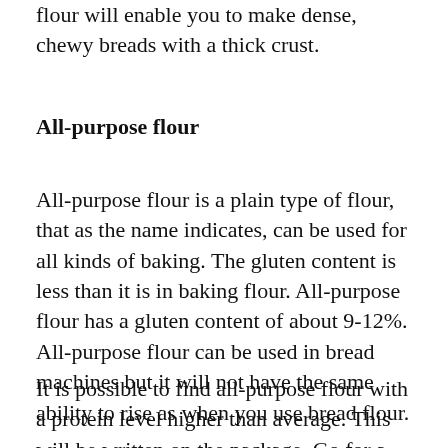flour will enable you to make dense, chewy breads with a thick crust.
All-purpose flour
All-purpose flour is a plain type of flour, that as the name indicates, can be used for all kinds of baking. The gluten content is less than it is in baking flour. All-purpose flour has a gluten content of about 9-12%. All-purpose flour can be used in bread machines but it will not have the same ability to rise as when you use bread flour.
It is possible to find all-purpose flour with a protein level higher than average. This will be written on the package. Go for a protein level of